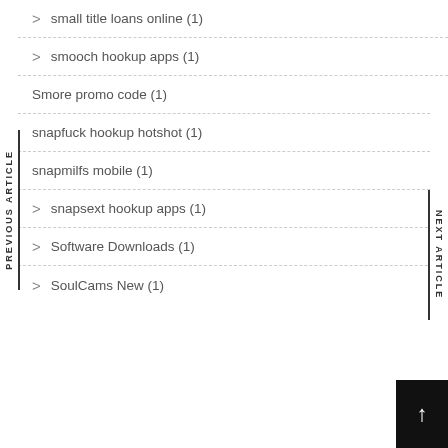small title loans online (1)
smooch hookup apps (1)
Smore promo code (1)
snapfuck hookup hotshot (1)
snapmilfs mobile (1)
snapsext hookup apps (1)
Software Downloads (1)
SoulCams New (1)